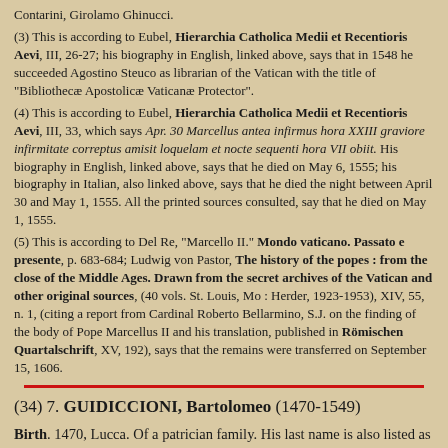Contarini, Girolamo Ghinucci.
(3) This is according to Eubel, Hierarchia Catholica Medii et Recentioris Aevi, III, 26-27; his biography in English, linked above, says that in 1548 he succeeded Agostino Steuco as librarian of the Vatican with the title of "Bibliothecæ Apostolicæ Vaticanæ Protector".
(4) This is according to Eubel, Hierarchia Catholica Medii et Recentioris Aevi, III, 33, which says Apr. 30 Marcellus antea infirmus hora XXIII graviore infirmitate correptus amisit loquelam et nocte sequenti hora VII obiit. His biography in English, linked above, says that he died on May 6, 1555; his biography in Italian, also linked above, says that he died the night between April 30 and May 1, 1555. All the printed sources consulted, say that he died on May 1, 1555.
(5) This is according to Del Re, "Marcello II." Mondo vaticano. Passato e presente, p. 683-684; Ludwig von Pastor, The history of the popes : from the close of the Middle Ages. Drawn from the secret archives of the Vatican and other original sources, (40 vols. St. Louis, Mo : Herder, 1923-1953), XIV, 55, n. 1, (citing a report from Cardinal Roberto Bellarmino, S.J. on the finding of the body of Pope Marcellus II and his translation, published in Römischen Quartalschrift, XV, 192), says that the remains were transferred on September 15, 1606.
(34) 7. GUIDICCIONI, Bartolomeo (1470-1549)
Birth. 1470, Lucca. Of a patrician family. His last name is also listed as Guiduiccioni. Relative of Giovanni Guidiccioni, who was about to be created cardinal when he died in 1541.